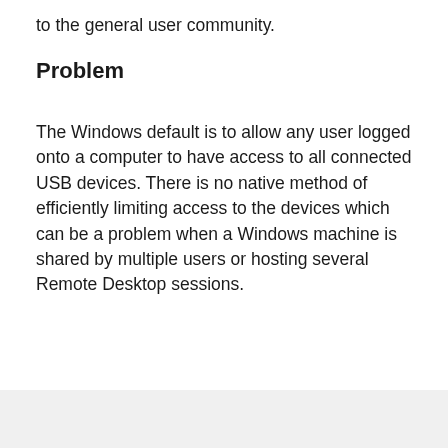to the general user community.
Problem
The Windows default is to allow any user logged onto a computer to have access to all connected USB devices. There is no native method of efficiently limiting access to the devices which can be a problem when a Windows machine is shared by multiple users or hosting several Remote Desktop sessions.
[Figure (other): Gray background box at bottom of page]